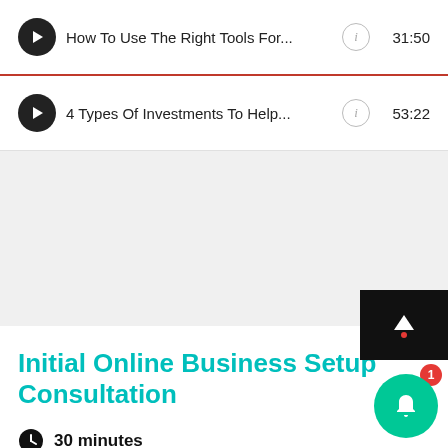How To Use The Right Tools For... 31:50
4 Types Of Investments To Help... 53:22
Initial Online Business Setup Consultation
30 minutes
Get a 30 Minute Online Business Setup Consultation, we can go through your business ideas and discuss the setup process and how to proceed to get your online business started.